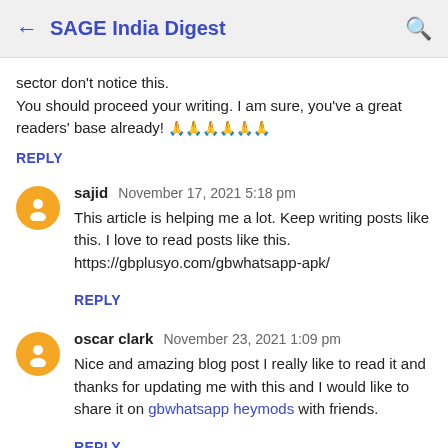← SAGE India Digest 🔍
sector don't notice this.
You should proceed your writing. I am sure, you've a great readers' base already! 🙏🙏🙏🙏🙏🙏
REPLY
sajid  November 17, 2021 5:18 pm
This article is helping me a lot. Keep writing posts like this. I love to read posts like this. https://gbplusyo.com/gbwhatsapp-apk/
REPLY
oscar clark  November 23, 2021 1:09 pm
Nice and amazing blog post I really like to read it and thanks for updating me with this and I would like to share it on gbwhatsapp heymods with friends.
REPLY